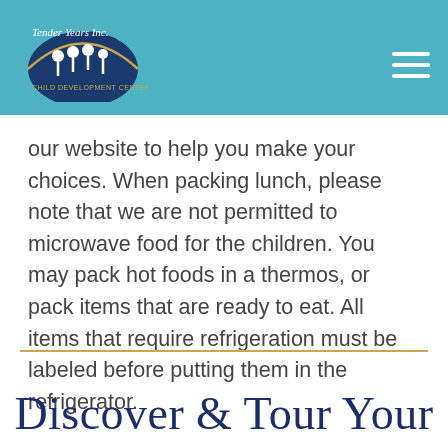Tender Years Inc. Child Development Center
our website to help you make your choices. When packing lunch, please note that we are not permitted to microwave food for the children. You may pack hot foods in a thermos, or pack items that are ready to eat. All items that require refrigeration must be labeled before putting them in the refrigerator.
Discover & Tour Your